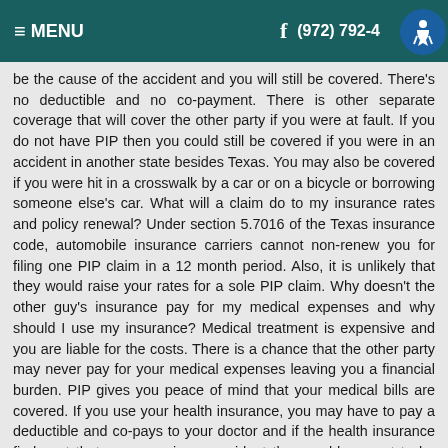≡ MENU   f   (972) 792-[...]4
be the cause of the accident and you will still be covered. There's no deductible and no co-payment. There is other separate coverage that will cover the other party if you were at fault. If you do not have PIP then you could still be covered if you were in an accident in another state besides Texas. You may also be covered if you were hit in a crosswalk by a car or on a bicycle or borrowing someone else's car. What will a claim do to my insurance rates and policy renewal? Under section 5.7016 of the Texas insurance code, automobile insurance carriers cannot non-renew you for filing one PIP claim in a 12 month period. Also, it is unlikely that they would raise your rates for a sole PIP claim. Why doesn't the other guy's insurance pay for my medical expenses and why should I use my insurance? Medical treatment is expensive and you are liable for the costs. There is a chance that the other party may never pay for your medical expenses leaving you a financial burden. PIP gives you peace of mind that your medical bills are covered. If you use your health insurance, you may have to pay a deductible and co-pays to your doctor and if the health insurance finds out that you were in an accident they could request to be reimbursed. Some people get referred to a medical provider by their attorney and the medical provider agrees to be paid months or even years later. Since there are a limited number of medical providers who